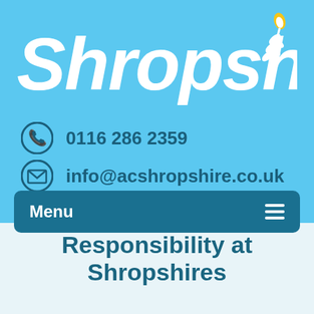[Figure (logo): Shropshires company logo — italic bold white text 'Shropshires' with a wheat/grain stalk and flame icon in gold and white on a sky-blue background]
0116 286 2359
info@acshropshire.co.uk
Menu
Responsibility at Shropshires